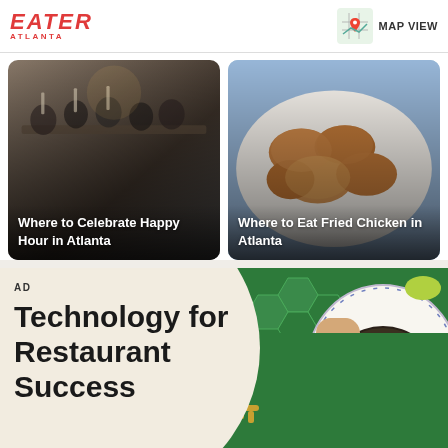EATER ATLANTA
MAP VIEW
[Figure (photo): People dining together at a long table raising glasses, happy hour scene]
Where to Celebrate Happy Hour in Atlanta
[Figure (photo): Plate of fried chicken pieces on a white plate]
Where to Eat Fried Chicken in Atlanta
AD
Technology for Restaurant Success
[Figure (photo): Hand holding a decorative plate with food, bracelet visible, green tiled background with key]
[Figure (photo): Bottom portion showing green hexagonal tiles and a gold key]